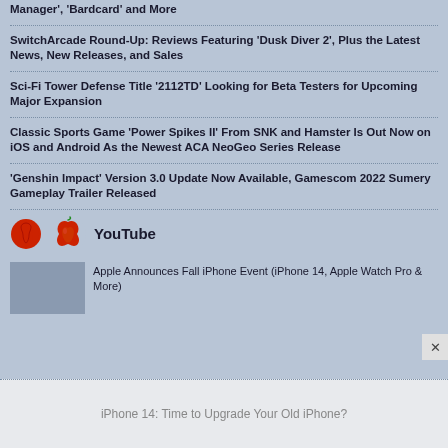Manager', 'Bardcard' and More
SwitchArcade Round-Up: Reviews Featuring 'Dusk Diver 2', Plus the Latest News, New Releases, and Sales
Sci-Fi Tower Defense Title '2112TD' Looking for Beta Testers for Upcoming Major Expansion
Classic Sports Game 'Power Spikes II' From SNK and Hamster Is Out Now on iOS and Android As the Newest ACA NeoGeo Series Release
'Genshin Impact' Version 3.0 Update Now Available, Gamescom 2022 Sumery Gameplay Trailer Released
YouTube
Apple Announces Fall iPhone Event (iPhone 14, Apple Watch Pro & More)
iPhone 14: Time to Upgrade Your Old iPhone?